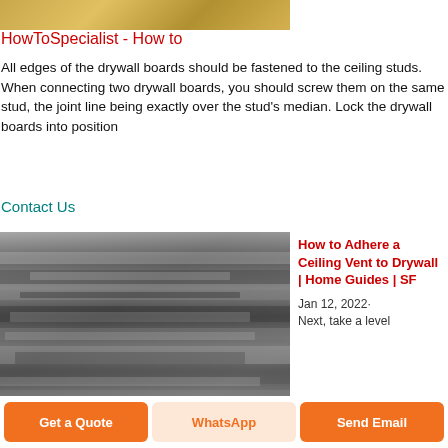[Figure (photo): Photo of metal/drywall materials stacked, warm toned top portion]
HowToSpecialist - How to
All edges of the drywall boards should be fastened to the ceiling studs. When connecting two drywall boards, you should screw them on the same stud, the joint line being exactly over the stud's median. Lock the drywall boards into position
Contact Us
[Figure (photo): Photo of stacked metal drywall sheets/panels in grey, industrial setting]
How to Adhere a Ceiling Vent to Drywall | Home Guides | SF
Jan 12, 2022· Next, take a level
Get a Quote
WhatsApp
Send Email